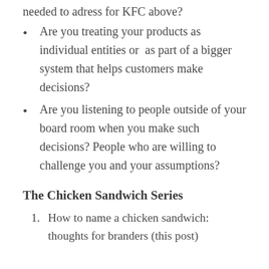needed to adress for KFC above?
Are you treating your products as individual entities or as part of a bigger system that helps customers make decisions?
Are you listening to people outside of your board room when you make such decisions? People who are willing to challenge you and your assumptions?
The Chicken Sandwich Series
How to name a chicken sandwich: thoughts for branders (this post)